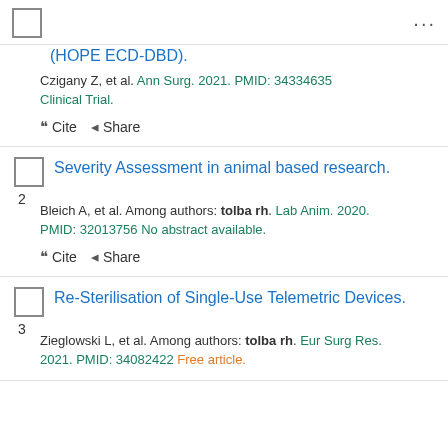(HOPE ECD-DBD).
Czigany Z, et al. Ann Surg. 2021. PMID: 34334635 Clinical Trial.
Severity Assessment in animal based research.
Bleich A, et al. Among authors: tolba rh. Lab Anim. 2020. PMID: 32013756 No abstract available.
Re-Sterilisation of Single-Use Telemetric Devices.
Zieglowski L, et al. Among authors: tolba rh. Eur Surg Res. 2021. PMID: 34082422 Free article.